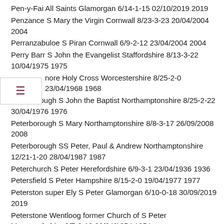Pen-y-Fai All Saints Glamorgan 6/14-1-15 02/10/2019 2019
Penzance S Mary the Virgin Cornwall 8/23-3-23 20/04/2004 2004
Perranzabuloe S Piran Cornwall 6/9-2-12 23/04/2004 2004
Perry Barr S John the Evangelist Staffordshire 8/13-3-22 10/04/1975 1975
nore Holy Cross Worcestershire 8/25-2-0 23/04/1968 1968
Peterborough S John the Baptist Northamptonshire 8/25-2-22 30/04/1976 1976
Peterborough S Mary Northamptonshire 8/8-3-17 26/09/2008 2008
Peterborough SS Peter, Paul & Andrew Northamptonshire 12/21-1-20 28/04/1987 1987
Peterchurch S Peter Herefordshire 6/9-3-1 23/04/1936 1936
Petersfield S Peter Hampshire 8/15-2-0 19/04/1977 1977
Peterston super Ely S Peter Glamorgan 6/10-0-18 30/09/2019 2019
Peterstone Wentloog former Church of S Peter Monmouthshire 8/7-2-19 29/04/1954 1954
Petworth S Mary Sussex 8/18-0-9 19/04/1966 1966
Pevensey S Nicholas East Sussex 6/7-3-3 27/04/2022 2022